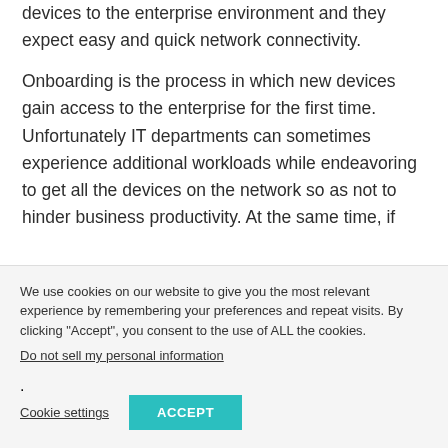devices to the enterprise environment and they expect easy and quick network connectivity.
Onboarding is the process in which new devices gain access to the enterprise for the first time. Unfortunately IT departments can sometimes experience additional workloads while endeavoring to get all the devices on the network so as not to hinder business productivity. At the same time, if
We use cookies on our website to give you the most relevant experience by remembering your preferences and repeat visits. By clicking "Accept", you consent to the use of ALL the cookies.
Do not sell my personal information.
Cookie settings
ACCEPT